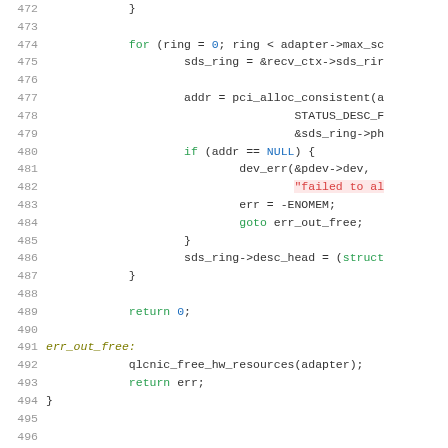[Figure (screenshot): Source code listing showing C code, lines 472-498, with syntax highlighting. Keywords in green, numeric literals/NULL in blue, string literals in red, labels in italic dark yellow.]